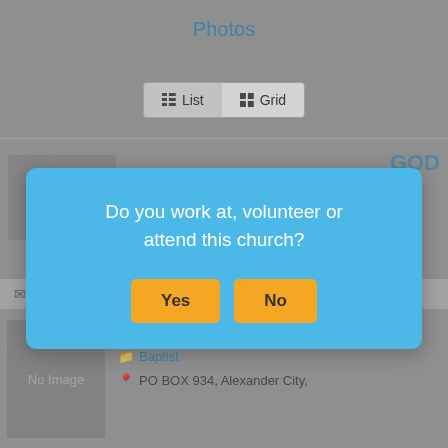Photos
[Figure (screenshot): List/Grid toggle button bar with list view active]
GOD
[Figure (screenshot): No Image placeholder box for partially visible church entry]
johnsonaoh@hotmail.com
CORINTH BAPTIST CHURCH
Baptist
PO BOX 934, Alexander City,
[Figure (screenshot): Modal dialog asking: Do you work at, volunteer or attend this church? with Yes and No buttons]